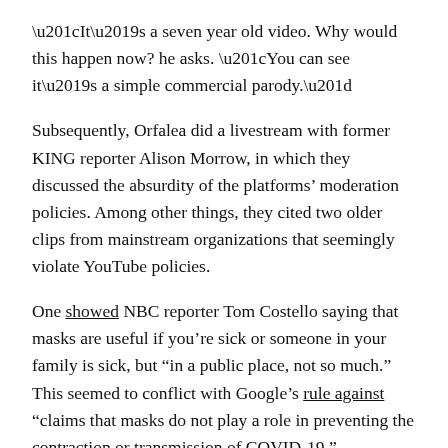“It’s a seven year old video. Why would this happen now? he asks. “You can see it’s a simple commercial parody.”
Subsequently, Orfalea did a livestream with former KING reporter Alison Morrow, in which they discussed the absurdity of the platforms’ moderation policies. Among other things, they cited two older clips from mainstream organizations that seemingly violate YouTube policies.
One showed NBC reporter Tom Costello saying that masks are useful if you’re sick or someone in your family is sick, but “in a public place, not so much.” This seemed to conflict with Google’s rule against “claims that masks do not play a role in preventing the contraction or transmission of COVID-19.”